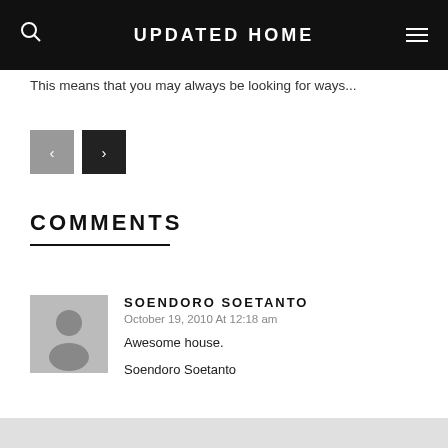UPDATED HOME
This means that you may always be looking for ways...
COMMENTS
SOENDORO SOETANTO
October 19, 2010 At 12:18 am
Awesome house.

Soendoro Soetanto
Comments are closed.